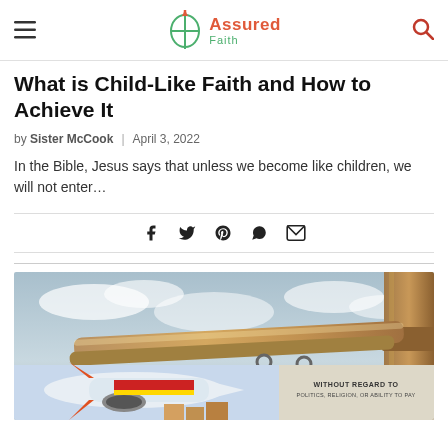Assured Faith
What is Child-Like Faith and How to Achieve It
by Sister McCook | April 3, 2022
In the Bible, Jesus says that unless we become like children, we will not enter…
[Figure (infographic): Social share icons: Facebook, Twitter, Pinterest, WhatsApp, Email]
[Figure (photo): A rustic wooden cross made from logs tied together, set against a cloudy sky background. Below it is an advertisement showing an airplane being loaded with cargo, and a text block reading WITHOUT REGARD TO POLITICS, RELIGION, OR ABILITY TO PAY.]